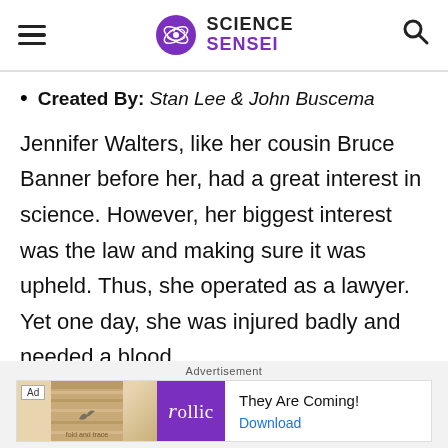SCIENCE SENSEI
Created By: Stan Lee & John Buscema
Jennifer Walters, like her cousin Bruce Banner before her, had a great interest in science. However, her biggest interest was the law and making sure it was upheld. Thus, she operated as a lawyer. Yet one day, she was injured badly and needed a blood
Advertisement